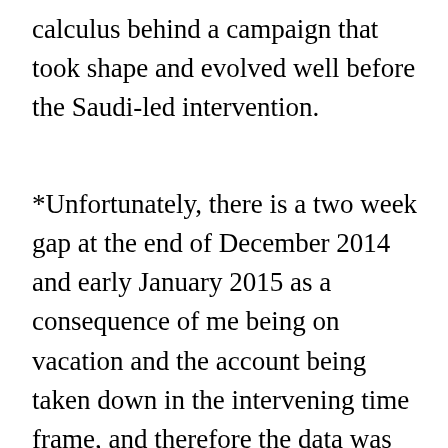calculus behind a campaign that took shape and evolved well before the Saudi-led intervention.
*Unfortunately, there is a two week gap at the end of December 2014 and early January 2015 as a consequence of me being on vacation and the account being taken down in the intervening time frame, and therefore the data was lost. Additionally, as a consequence of repeated takedowns of its official account on Twitter, we retain a full archive of all